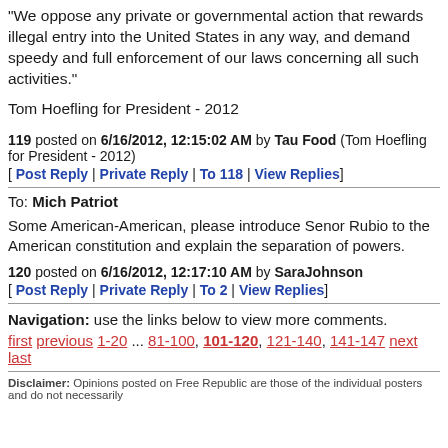“We oppose any private or governmental action that rewards illegal entry into the United States in any way, and demand speedy and full enforcement of our laws concerning all such activities.”
Tom Hoefling for President - 2012
119 posted on 6/16/2012, 12:15:02 AM by Tau Food (Tom Hoefling for President - 2012)
[ Post Reply | Private Reply | To 118 | View Replies]
To: Mich Patriot
Some American-American, please introduce Senor Rubio to the American constitution and explain the separation of powers.
120 posted on 6/16/2012, 12:17:10 AM by SaraJohnson
[ Post Reply | Private Reply | To 2 | View Replies]
Navigation: use the links below to view more comments.
first previous 1-20 ... 81-100, 101-120, 121-140, 141-147 next last
Disclaimer: Opinions posted on Free Republic are those of the individual posters and do not necessarily